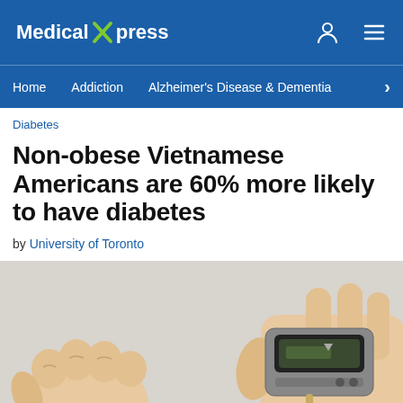Medical Xpress
Home  Addiction  Alzheimer's Disease & Dementia
Diabetes
Non-obese Vietnamese Americans are 60% more likely to have diabetes
by University of Toronto
[Figure (photo): Close-up of two hands — one with a clenched fist and one holding a blood glucose meter device — against a light background, depicting a diabetes blood sugar test.]